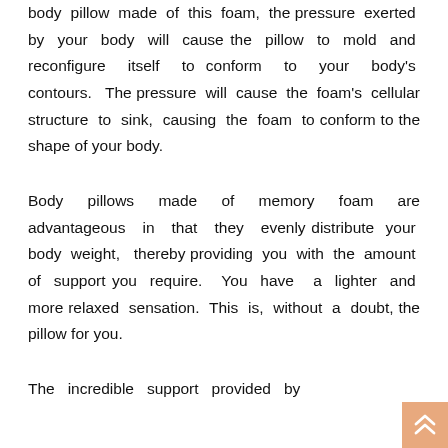body pillow made of this foam, the pressure exerted by your body will cause the pillow to mold and reconfigure itself to conform to your body's contours. The pressure will cause the foam's cellular structure to sink, causing the foam to conform to the shape of your body.
Body pillows made of memory foam are advantageous in that they evenly distribute your body weight, thereby providing you with the amount of support you require. You have a lighter and more relaxed sensation. This is, without a doubt, the pillow for you.
The incredible support provided by